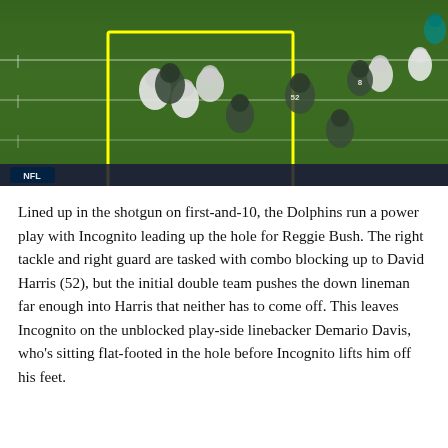[Figure (photo): Aerial broadcast view of an NFL football play. Miami Dolphins (white jerseys) run a power play against the New York Jets (dark jerseys) on a green field. A yellow rectangle highlights a blocking interaction on the left side of the formation. NFL logo visible at bottom left.]
Lined up in the shotgun on first-and-10, the Dolphins run a power play with Incognito leading up the hole for Reggie Bush. The right tackle and right guard are tasked with combo blocking up to David Harris (52), but the initial double team pushes the down lineman far enough into Harris that neither has to come off. This leaves Incognito on the unblocked play-side linebacker Demario Davis, who's sitting flat-footed in the hole before Incognito lifts him off his feet.